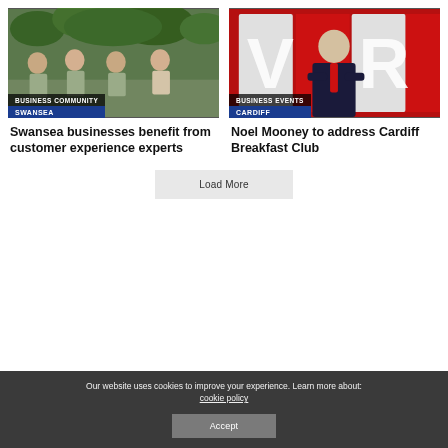[Figure (photo): Group of four people in khaki uniforms sitting outdoors in a zoo or wildlife setting. Overlaid with category badges: BUSINESS COMMUNITY / SWANSEA]
[Figure (photo): Man in a dark suit and red tie standing with arms crossed in front of a red and white broadcast studio background. Overlaid with category badges: BUSINESS EVENTS / CARDIFF]
Swansea businesses benefit from customer experience experts
Noel Mooney to address Cardiff Breakfast Club
Load More
Our website uses cookies to improve your experience. Learn more about: cookie policy
Accept